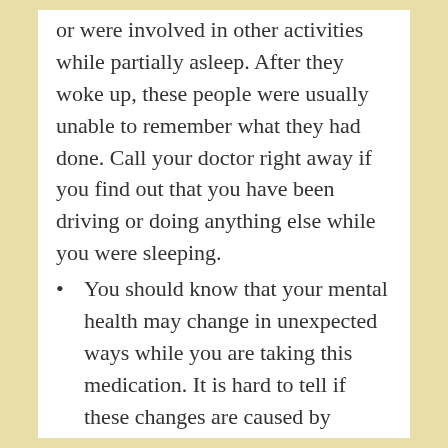or were involved in other activities while partially asleep. After they woke up, these people were usually unable to remember what they had done. Call your doctor right away if you find out that you have been driving or doing anything else while you were sleeping.
You should know that your mental health may change in unexpected ways while you are taking this medication. It is hard to tell if these changes are caused by temazepam or if they